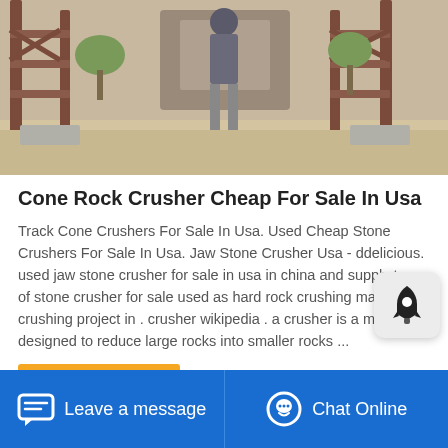[Figure (photo): Industrial rock crushing machinery / cone crusher equipment at a construction or mining site, outdoor setting with sandy ground]
Cone Rock Crusher Cheap For Sale In Usa
Track Cone Crushers For Sale In Usa. Used Cheap Stone Crushers For Sale In Usa. Jaw Stone Crusher Usa - ddelicious. used jaw stone crusher for sale in usa in china and supply types of stone crushers for sale used as hard rock crushing machine in crushing project in . crusher wikipedia . a crusher is a machine designed to reduce large rocks into smaller rocks ...
Read More
Leave a message   Chat Online